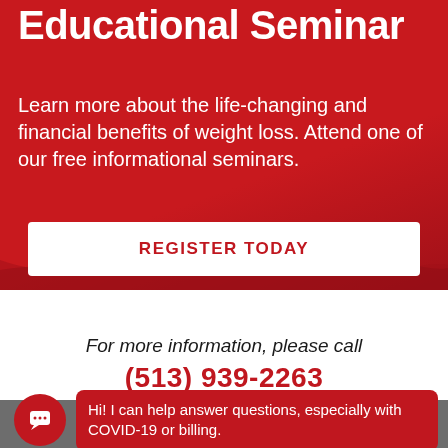Educational Seminar
Learn more about the life-changing and financial benefits of weight loss. Attend one of our free informational seminars.
REGISTER TODAY
For more information, please call
(513) 939-2263
Hi! I can help answer questions, especially with COVID-19 or billing.
© 2022 UC Health. All rights reserved.